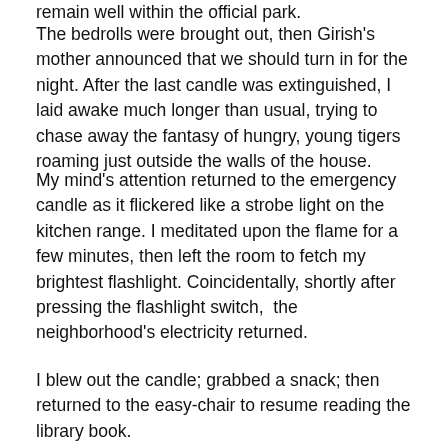remain well within the official park.
The bedrolls were brought out, then Girish's mother announced that we should turn in for the night. After the last candle was extinguished, I laid awake much longer than usual, trying to chase away the fantasy of hungry, young tigers roaming just outside the walls of the house.
My mind's attention returned to the emergency candle as it flickered like a strobe light on the kitchen range. I meditated upon the flame for a few minutes, then left the room to fetch my brightest flashlight. Coincidentally, shortly after pressing the flashlight switch,  the neighborhood's electricity returned.
I blew out the candle; grabbed a snack; then returned to the easy-chair to resume reading the library book.